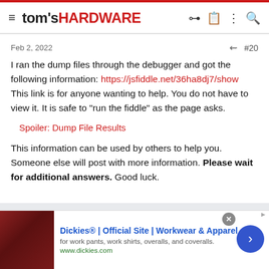tom's HARDWARE
Feb 2, 2022  #20
I ran the dump files through the debugger and got the following information: https://jsfiddle.net/36ha8dj7/show This link is for anyone wanting to help. You do not have to view it. It is safe to "run the fiddle" as the page asks.
Spoiler: Dump File Results
This information can be used by others to help you. Someone else will post with more information. Please wait for additional answers. Good luck.
[Figure (screenshot): Advertisement banner for Dickies Official Site - Workwear & Apparel. Shows a dark red image on left, blue ad title, subtitle text, and green URL www.dickies.com. Close button and arrow navigation visible.]